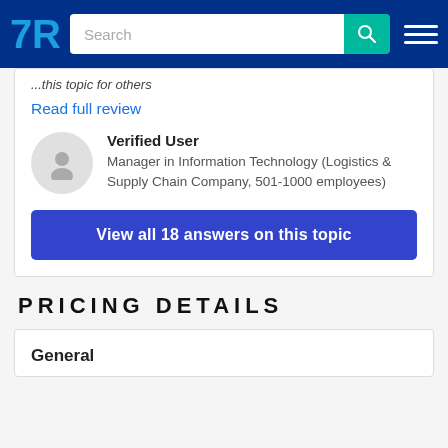TrustRadius — Search bar and navigation
...this topic for others
Read full review
Verified User — Manager in Information Technology (Logistics & Supply Chain Company, 501-1000 employees)
View all 18 answers on this topic
PRICING DETAILS
General